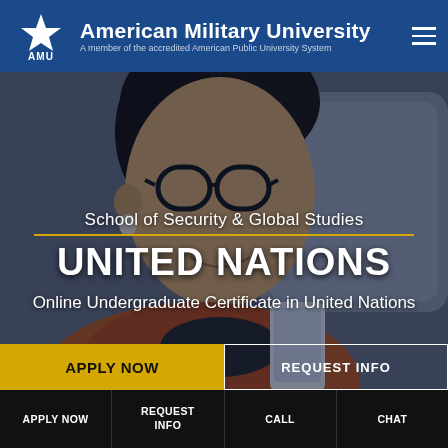American Military University — A member of the accredited American Public University System
[Figure (photo): Young woman with glasses and dark hair smiling, wearing an orange/rust jacket, looking at a smartphone, seated near a sofa]
School of Security & Global Studies
UNITED NATIONS
Online Undergraduate Certificate in United Nations
APPLY NOW
REQUEST INFO
APPLY NOW | REQUEST INFO | CALL | CHAT